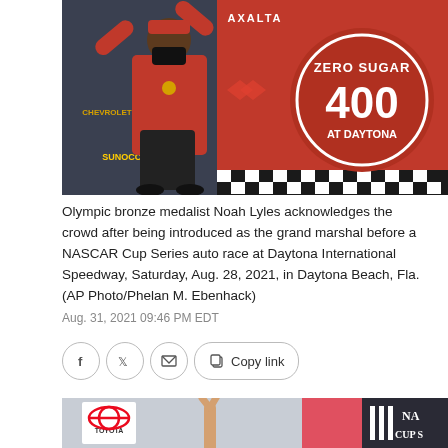[Figure (photo): Olympic bronze medalist Noah Lyles wearing a red shirt and face mask, arms raised, with a NASCAR Zero Sugar 400 at Daytona banner/backdrop behind him. Logos visible: Axalta, Chevrolet, Sunoco.]
Olympic bronze medalist Noah Lyles acknowledges the crowd after being introduced as the grand marshal before a NASCAR Cup Series auto race at Daytona International Speedway, Saturday, Aug. 28, 2021, in Daytona Beach, Fla. (AP Photo/Phelan M. Ebenhack)
Aug. 31, 2021 09:46 PM EDT
[Figure (photo): Bottom partial photo showing a NASCAR event scene with Toyota logo visible and NASCAR Cup Series branding, with a person's raised hand visible.]